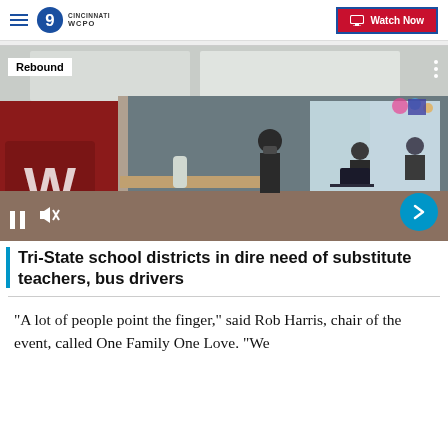WCPO 9 CINCINNATI | Watch Now
[Figure (photo): Classroom scene with teacher standing among students working at desks, with red school banner visible on left and large windows in background. Video player interface visible with pause and mute buttons and next arrow.]
Rebound
Tri-State school districts in dire need of substitute teachers, bus drivers
"A lot of people point the finger," said Rob Harris, chair of the event, called One Family One Love. "We